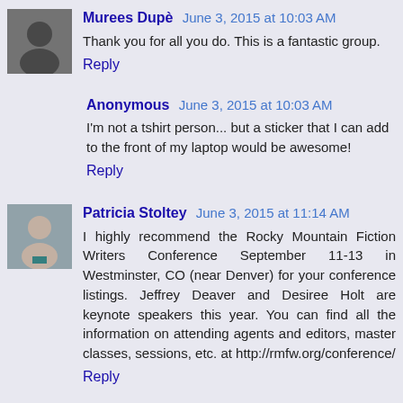Murees Dupè  June 3, 2015 at 10:03 AM
Thank you for all you do. This is a fantastic group.
Reply
Anonymous  June 3, 2015 at 10:03 AM
I'm not a tshirt person... but a sticker that I can add to the front of my laptop would be awesome!
Reply
Patricia Stoltey  June 3, 2015 at 11:14 AM
I highly recommend the Rocky Mountain Fiction Writers Conference September 11-13 in Westminster, CO (near Denver) for your conference listings. Jeffrey Deaver and Desiree Holt are keynote speakers this year. You can find all the information on attending agents and editors, master classes, sessions, etc. at http://rmfw.org/conference/
Reply